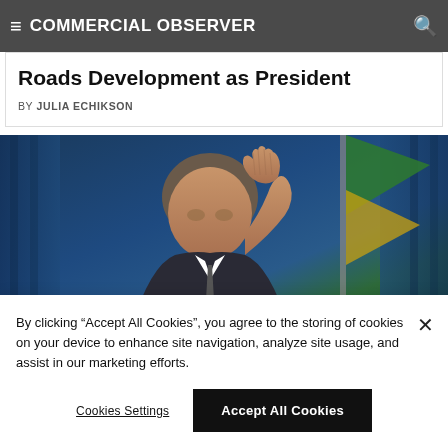≡ COMMERCIAL OBSERVER
Roads Development as President
BY JULIA ECHIKSON
[Figure (photo): A man in a suit raising his hand against a dark blue curtain backdrop with a green flag visible on the right side.]
By clicking "Accept All Cookies", you agree to the storing of cookies on your device to enhance site navigation, analyze site usage, and assist in our marketing efforts.
Cookies Settings   Accept All Cookies